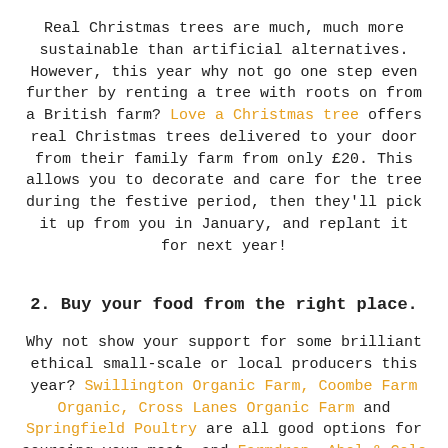Real Christmas trees are much, much more sustainable than artificial alternatives. However, this year why not go one step even further by renting a tree with roots on from a British farm? Love a Christmas tree offers real Christmas trees delivered to your door from their family farm from only £20. This allows you to decorate and care for the tree during the festive period, then they'll pick it up from you in January, and replant it for next year!
2. Buy your food from the right place.
Why not show your support for some brilliant ethical small-scale or local producers this year? Swillington Organic Farm, Coombe Farm Organic, Cross Lanes Organic Farm and Springfield Poultry are all good options for sourcing your meat, and Farmdrop, Abel & Cole and